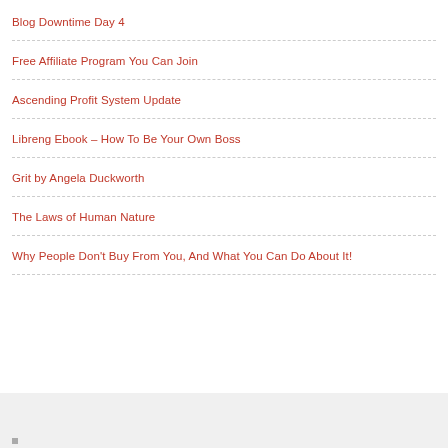Blog Downtime Day 4
Free Affiliate Program You Can Join
Ascending Profit System Update
Libreng Ebook – How To Be Your Own Boss
Grit by Angela Duckworth
The Laws of Human Nature
Why People Don't Buy From You, And What You Can Do About It!